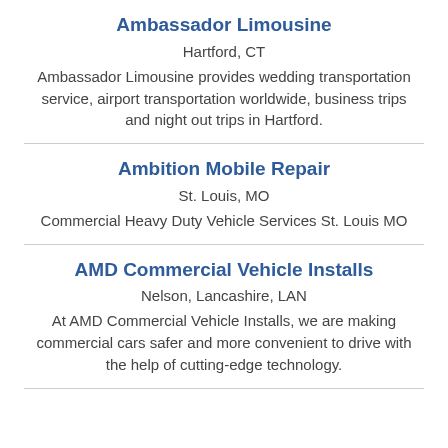Ambassador Limousine
Hartford, CT
Ambassador Limousine provides wedding transportation service, airport transportation worldwide, business trips and night out trips in Hartford.
Ambition Mobile Repair
St. Louis, MO
Commercial Heavy Duty Vehicle Services St. Louis MO
AMD Commercial Vehicle Installs
Nelson, Lancashire, LAN
At AMD Commercial Vehicle Installs, we are making commercial cars safer and more convenient to drive with the help of cutting-edge technology.